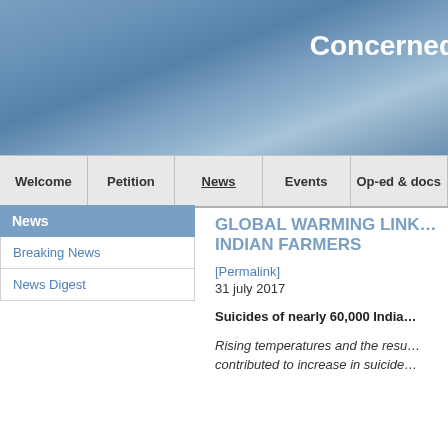Concerned
Welcome | Petition | News | Events | Op-ed & docs
News
Breaking News
News Digest
GLOBAL WARMING LINK… INDIAN FARMERS
[Permalink]
31 july 2017
Suicides of nearly 60,000 India…
Rising temperatures and the resu… contributed to increase in suicide…